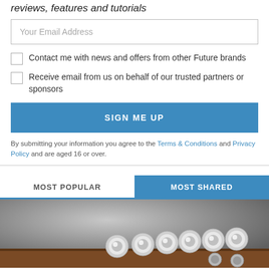reviews, features and tutorials
Your Email Address
Contact me with news and offers from other Future brands
Receive email from us on behalf of our trusted partners or sponsors
SIGN ME UP
By submitting your information you agree to the Terms & Conditions and Privacy Policy and are aged 16 or over.
MOST POPULAR
MOST SHARED
[Figure (photo): Close-up photo of chrome guitar tuning pegs on a wooden headstock]